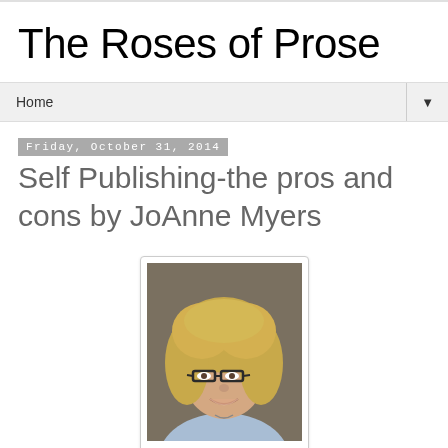The Roses of Prose
Home
Friday, October 31, 2014
Self Publishing-the pros and cons by JoAnne Myers
[Figure (photo): Portrait photo of JoAnne Myers, a woman with blonde wavy hair and glasses, wearing a light blue top, smiling at the camera]